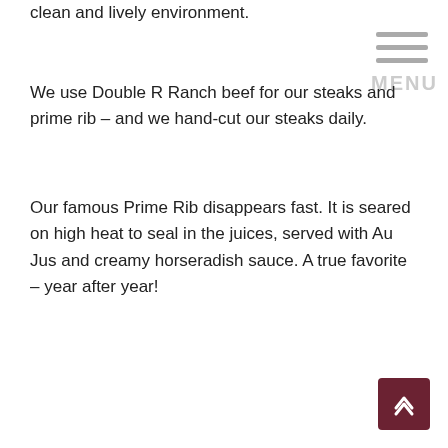clean and lively environment.
We use Double R Ranch beef for our steaks and prime rib – and we hand-cut our steaks daily.
Our famous Prime Rib disappears fast. It is seared on high heat to seal in the juices, served with Au Jus and creamy horseradish sauce. A true favorite – year after year!